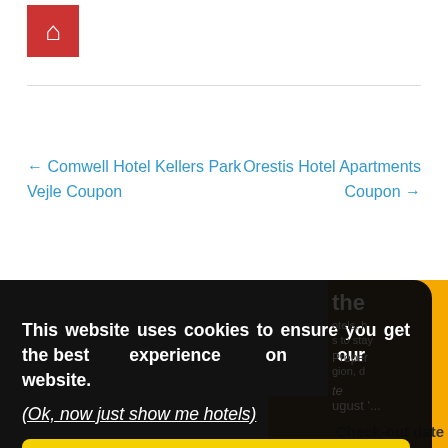[Figure (logo): Red square logo with white building/grid icon]
← Comwell Hotel Kellers Park Vejle Coupon
Orestis Hotel Apartments Coupon →
[Figure (screenshot): Cookie consent modal overlay with text: This website uses cookies to ensure you get the best experience on our website. (Ok, now just show me hotels) and a Proceed button. Partially visible yellow sidebar with hotel booking content on the right.]
Check-out date